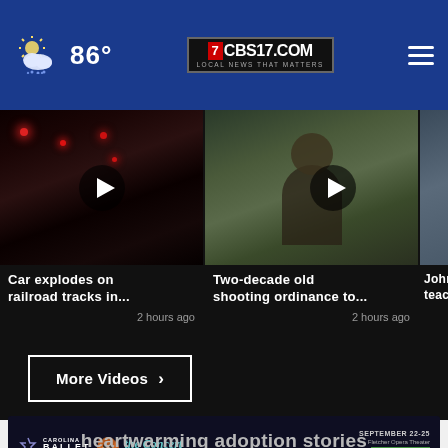86° CBS17.COM LOCAL NEWS THAT MATTERS
[Figure (screenshot): Video thumbnail: Car explodes on railroad tracks, dark scene with red lights]
Car explodes on railroad tracks in...
2 hours ago
[Figure (screenshot): Video thumbnail: Man in cap and glasses outdoors]
Two-decade old shooting ordinance to...
2 hours ago
[Figure (screenshot): Partial video thumbnail: Johns... teache...]
More Videos ›
[Figure (infographic): Adopt US Kids advertisement banner with HHS seal and ad label, close button]
[Figure (infographic): Carolina Ballet - the Concert - September 22-25 - Fletcher Opera Theater - Get Tickets advertisement]
heartwarming adoption stories